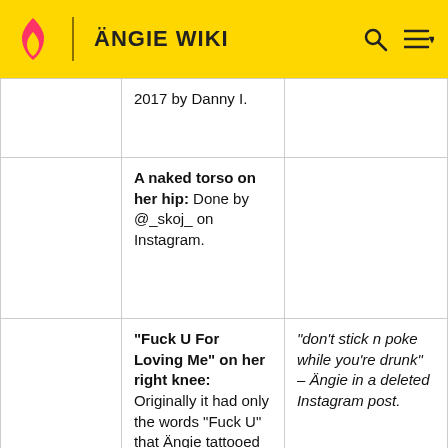ÄNGIE WIKI
|  |  |  |
| --- | --- | --- |
|  | 2017 by Danny I. |  |
|  | A naked torso on her hip: Done by @_skoj_ on Instagram. |  |
|  | "Fuck U For Loving Me" on her right knee: Originally it had only the words "Fuck U" that Ängie tattooed herself, a few months later her friend and tattoo artist Thuro... | "don't stick n poke while you're drunk" – Ängie in a deleted Instagram post. |